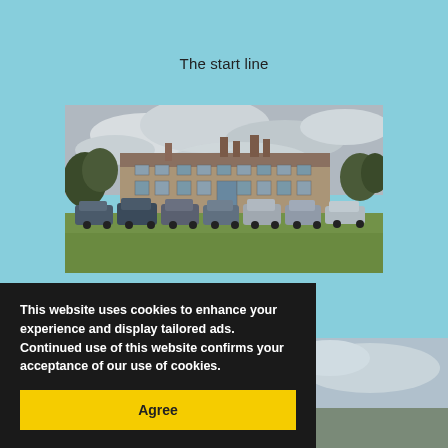The start line
[Figure (photo): A large English country manor house (Loseley House) with stone facade, multiple chimneys, and tall windows. Cars are parked in front on a green lawn. Overcast cloudy sky in the background with trees on either side.]
Loseley House
[Figure (photo): Partial view of another outdoor photo visible behind the cookie consent banner, showing sky and what appears to be a similar outdoor scene.]
This website uses cookies to enhance your experience and display tailored ads. Continued use of this website confirms your acceptance of our use of cookies.
Agree